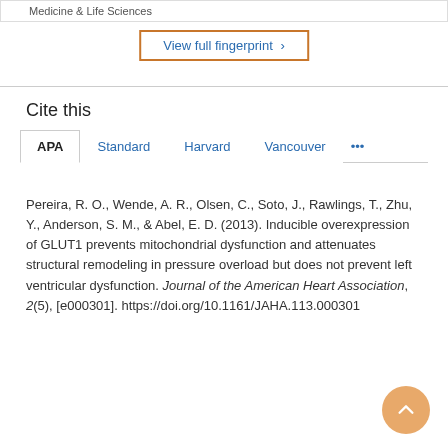Medicine & Life Sciences
View full fingerprint >
Cite this
APA  Standard  Harvard  Vancouver  ...
Pereira, R. O., Wende, A. R., Olsen, C., Soto, J., Rawlings, T., Zhu, Y., Anderson, S. M., & Abel, E. D. (2013). Inducible overexpression of GLUT1 prevents mitochondrial dysfunction and attenuates structural remodeling in pressure overload but does not prevent left ventricular dysfunction. Journal of the American Heart Association, 2(5), [e000301]. https://doi.org/10.1161/JAHA.113.000301